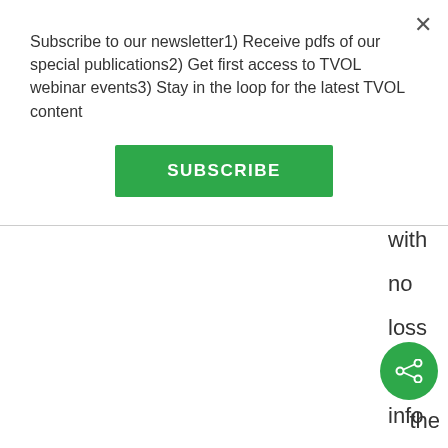Subscribe to our newsletter1) Receive pdfs of our special publications2) Get first access to TVOL webinar events3) Stay in the loop for the latest TVOL content
[Figure (other): Green SUBSCRIBE button]
with no loss of info the
[Figure (other): Green circular share button with share icon]